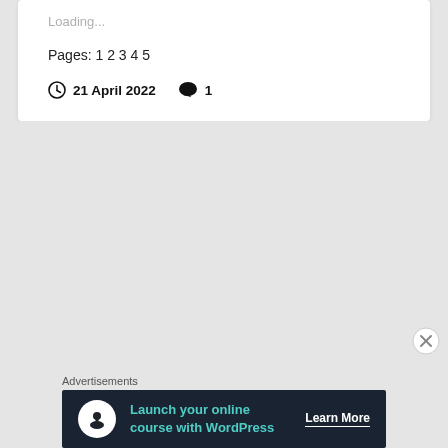Loading...
Pages: 1 2 3 4 5
21 April 2022   1
Advertisements
[Figure (infographic): Advertisement banner: Launch your online course with WordPress. Learn More button. Dark background with teal/green text and a white circular icon.]